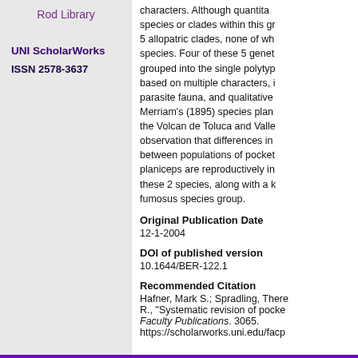Rod Library
UNI ScholarWorks
ISSN 2578-3637
characters. Although quantitative species or clades within this gr 5 allopatric clades, none of wh species. Four of these 5 genet grouped into the single polytyp based on multiple characters, i parasite fauna, and qualitative Merriam's (1895) species plan the Volcan de Toluca and Valle observation that differences in between populations of pocket planiceps are reproductively in these 2 species, along with a k fumosus species group.
Original Publication Date
12-1-2004
DOI of published version
10.1644/BER-122.1
Recommended Citation
Hafner, Mark S.; Spradling, There R., "Systematic revision of pocke Faculty Publications. 3065. https://scholarworks.uni.edu/facp